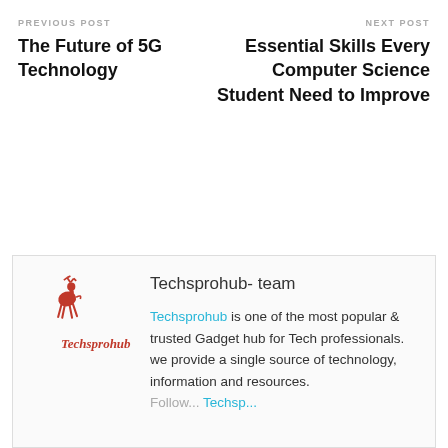PREVIOUS POST
The Future of 5G Technology
NEXT POST
Essential Skills Every Computer Science Student Need to Improve
[Figure (logo): Techsprohub logo: red deer/reindeer figure with cursive red text Techsprohub]
Techsprohub- team
Techsprohub is one of the most popular & trusted Gadget hub for Tech professionals. we provide a single source of technology, information and resources. Follow... Techsp...